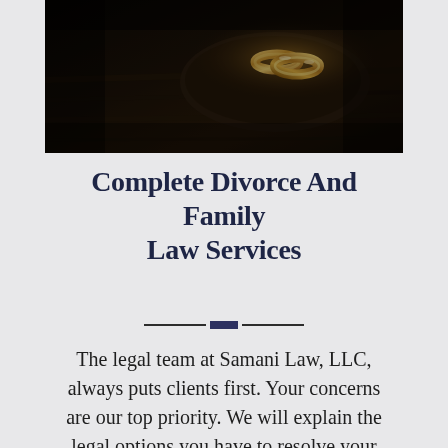[Figure (photo): Dark moody photo of two gold wedding rings resting on a wooden surface, possibly a gavel or table, with shallow depth of field. Background is very dark.]
Complete Divorce And Family
Law Services
The legal team at Samani Law, LLC, always puts clients first. Your concerns are our top priority. We will explain the legal options you have to resolve your divorce or family law issues and help...